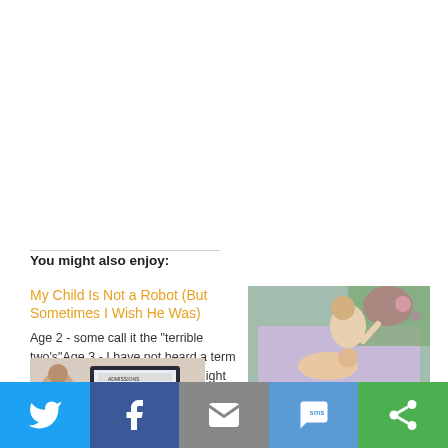You might also enjoy:
My Child Is Not a Robot (But Sometimes I Wish He Was)
Age 2 - some call it the "terrible two's"Age 3 - I have not heard a term that comes along with it, but I might be
[Figure (photo): Man leaning over child lying on a bed with colorful background]
Scared as Hell about Raising My Daughter
[Figure (photo): Person looking at laptop screen showing Admissions page]